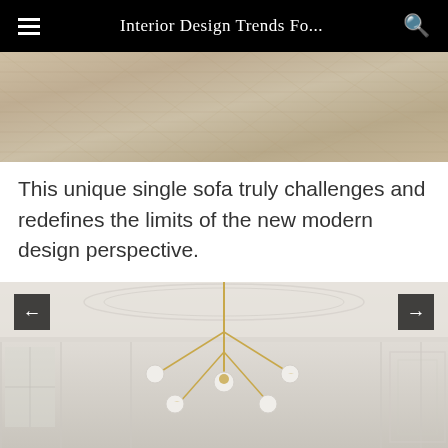Interior Design Trends Fo...
[Figure (photo): Close-up of light-colored herringbone wood flooring, showing grain texture in beige and taupe tones]
This unique single sofa truly challenges and redefines the limits of the new modern design perspective.
[Figure (photo): Elegant room interior with white ornate plaster ceiling moldings and a modern brass multi-arm chandelier with globe lights, white paneled walls visible in background]